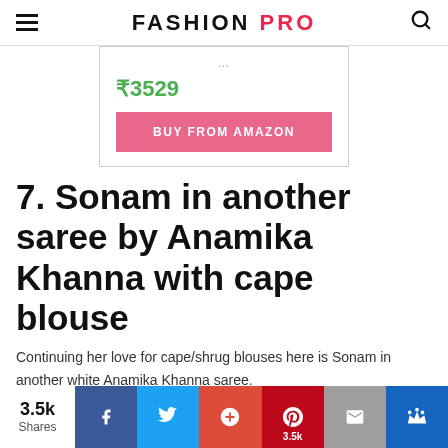FASHION PRO
₹3529
BUY FROM AMAZON
7. Sonam in another saree by Anamika Khanna with cape blouse
Continuing her love for cape/shrug blouses here is Sonam in another white Anamika Khanna saree.
[Figure (photo): Photo strip showing two partial images side by side]
3.5k Shares — social sharing buttons: Facebook, Twitter, Google+, Pinterest (3.5k), Email, Crown